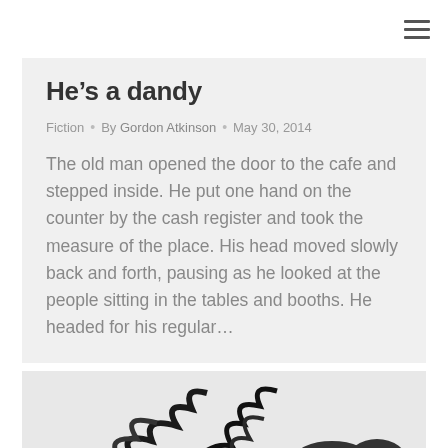He’s a dandy
Fiction • By Gordon Atkinson • May 30, 2014
The old man opened the door to the cafe and stepped inside. He put one hand on the counter by the cash register and took the measure of the place. His head moved slowly back and forth, pausing as he looked at the people sitting in the tables and booths. He headed for his regular…
[Figure (illustration): Black and white woodcut-style illustration of a group of people with stylized faces and hair patterns, crowded together]